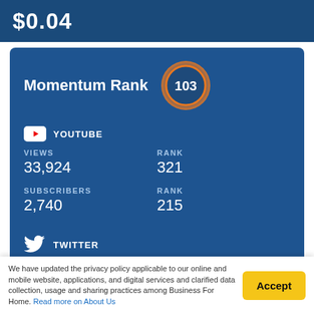$0.04
Momentum Rank 103
YOUTUBE
VIEWS
33,924
RANK
321
SUBSCRIBERS
2,740
RANK
215
TWITTER
We have updated the privacy policy applicable to our online and mobile website, applications, and digital services and clarified data collection, usage and sharing practices among Business For Home. Read more on About Us